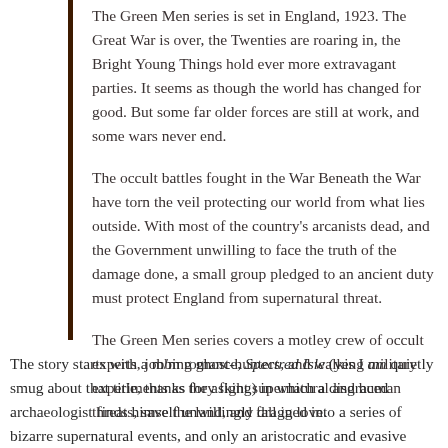The Green Men series is set in England, 1923. The Great War is over, the Twenties are roaring in, the Bright Young Things hold ever more extravagant parties. It seems as though the world has changed for good. But some far older forces are still at work, and some wars never end.
The occult battles fought in the War Beneath the War have torn the veil protecting our world from what lies outside. With most of the country's arcanists dead, and the Government unwilling to face the truth of the damage done, a small group pledged to an ancient duty must protect England from supernatural threat.
The Green Men series covers a motley crew of occult experts, jobbing ghost-hunters, and walking military experiments as they fight supernatural and human threats, save the land, and fall in love.
The story starts with a m/m romance, Spectred Isle (yes I am quietly smug about that title, thanks for asking) in which a disgraced archaeologist finds himself unwillingly dragged into a series of bizarre supernatural events, and only an aristocratic and evasive arcanist can save him. It was a joy